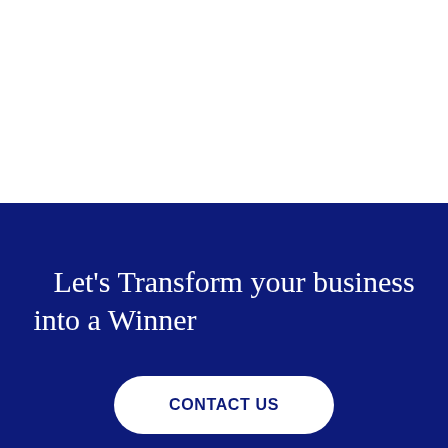Let's Transform your business into a Winner
CONTACT US